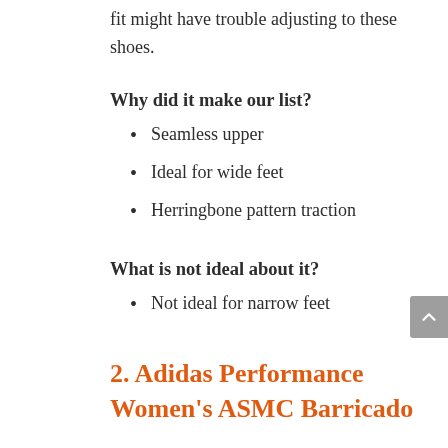fit might have trouble adjusting to these shoes.
Why did it make our list?
Seamless upper
Ideal for wide feet
Herringbone pattern traction
What is not ideal about it?
Not ideal for narrow feet
2. Adidas Performance Women's ASMC Barricado